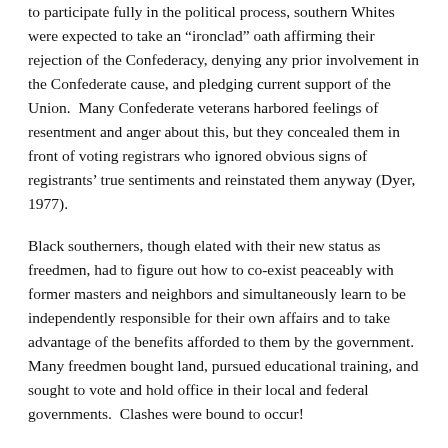to participate fully in the political process, southern Whites were expected to take an “ironclad” oath affirming their rejection of the Confederacy, denying any prior involvement in the Confederate cause, and pledging current support of the Union.  Many Confederate veterans harbored feelings of resentment and anger about this, but they concealed them in front of voting registrars who ignored obvious signs of registrants’ true sentiments and reinstated them anyway (Dyer, 1977).
Black southerners, though elated with their new status as freedmen, had to figure out how to co-exist peaceably with former masters and neighbors and simultaneously learn to be independently responsible for their own affairs and to take advantage of the benefits afforded to them by the government.  Many freedmen bought land, pursued educational training, and sought to vote and hold office in their local and federal governments.  Clashes were bound to occur!